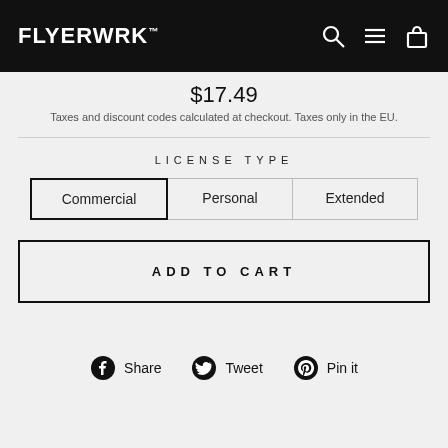FLYERWRK™
$17.49
Taxes and discount codes calculated at checkout. Taxes only in the EU.
LICENSE TYPE
Commercial | Personal | Extended
ADD TO CART
Share  Tweet  Pin it